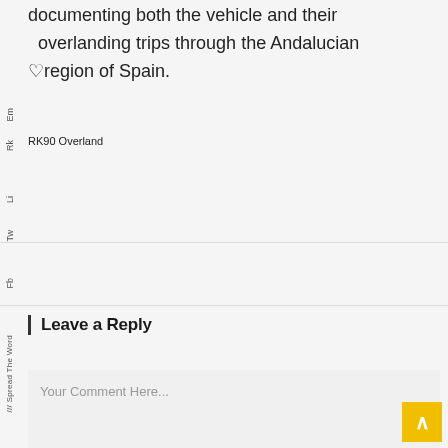documenting both the vehicle and their overlanding trips through the Andalucian region of Spain.
Em
RK90 Overland
Li
Tw
Fb
Leave a Reply
/// Spread The Word
Your Comment Here...